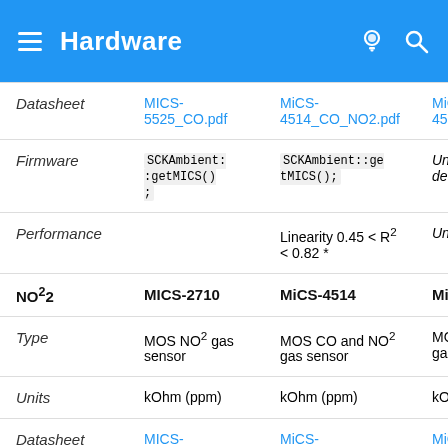Hardware
|  | MICS-2710 / MICS-5525 | MiCS-4514 | MiCS-4514 (cont.) |
| --- | --- | --- | --- |
| Datasheet | MICS-5525_CO.pdf | MiCS-4514_CO_NO2.pdf | MiCS-4514_CO_ |
| Firmware | SCKAmbient::getMICS(); | SCKAmbient::getMICS(); | Under development |
| Performance |  | Linearity 0.45 < R² < 0.82 * | Under tes... |
| NO²2 | MICS-2710 | MiCS-4514 | MiCS-451... |
| Type | MOS NO² gas sensor | MOS CO and NO² gas sensor | MOS CO and gas sens... |
| Units | kOhm (ppm) | kOhm (ppm) | kOhm (pp... |
| Datasheet | MICS- | MiCS- | MiCS- |